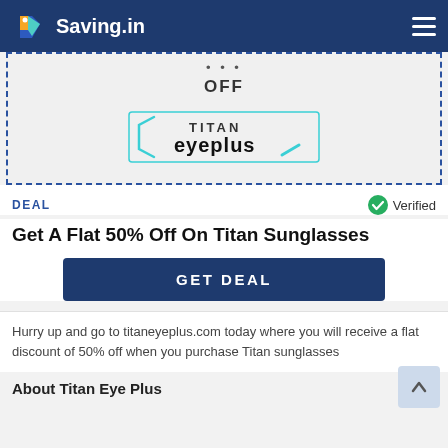Saving.in
[Figure (logo): Titan Eyeplus logo inside a dashed coupon card with OFF text above]
DEAL
Verified
Get A Flat 50% Off On Titan Sunglasses
GET DEAL
Hurry up and go to titaneyeplus.com today where you will receive a flat discount of 50% off when you purchase Titan sunglasses
About Titan Eye Plus